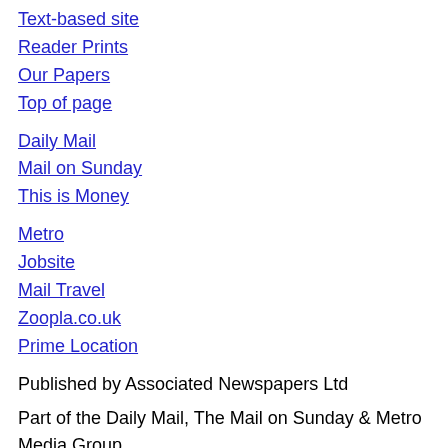Text-based site
Reader Prints
Our Papers
Top of page
Daily Mail
Mail on Sunday
This is Money
Metro
Jobsite
Mail Travel
Zoopla.co.uk
Prime Location
Published by Associated Newspapers Ltd
Part of the Daily Mail, The Mail on Sunday & Metro Media Group
dmg media
Contact us
How to complain
Leadership Team
Advertise with us
Contributors
Work with Us